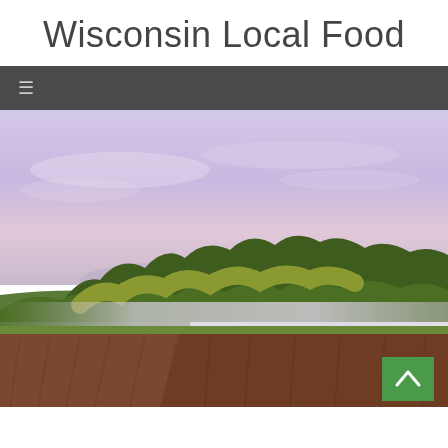Wisconsin Local Food
[Figure (screenshot): Dark navigation bar with hamburger menu icon (three horizontal lines) on a gray/charcoal background]
[Figure (photo): Wisconsin rural landscape at dusk/dawn showing plowed farmfields in the foreground with red-brown soil, green grass strips, a tree line of mixed deciduous trees in the middle ground, and a soft purple-pink sky in the background. A green scroll-to-top button with a caret/chevron up icon is overlaid in the bottom right corner.]